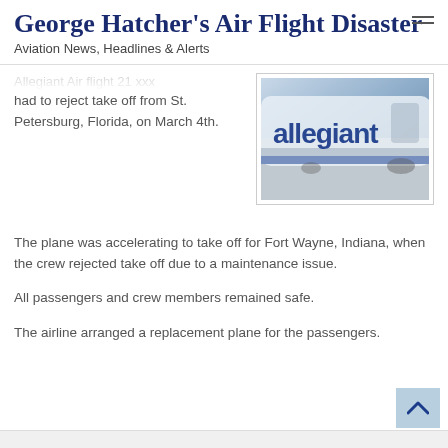George Hatcher's Air Flight Disaster
Aviation News, Headlines & Alerts
Allegiant Air flight 21 xxx had to reject take off from St. Petersburg, Florida, on March 4th.
[Figure (photo): Photo of an Allegiant Air aircraft showing the airline's blue logo text on the white fuselage]
The plane was accelerating to take off for Fort Wayne, Indiana, when the crew rejected take off due to a maintenance issue.
All passengers and crew members remained safe.
The airline arranged a replacement plane for the passengers.